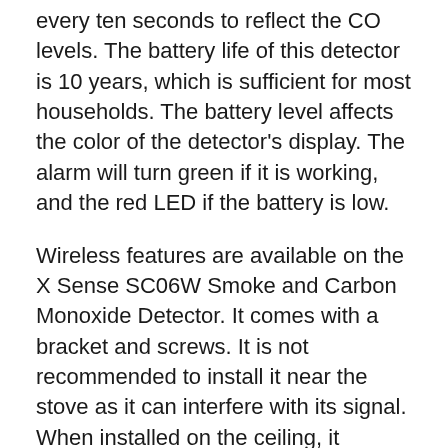every ten seconds to reflect the CO levels. The battery life of this detector is 10 years, which is sufficient for most households. The battery level affects the color of the detector's display. The alarm will turn green if it is working, and the red LED if the battery is low.
Wireless features are available on the X Sense SC06W Smoke and Carbon Monoxide Detector. It comes with a bracket and screws. It is not recommended to install it near the stove as it can interfere with its signal. When installed on the ceiling, it requires 20 inches of clearance. It requires 4 inches clearance if it is installed on a wall. A wiring system is also available.